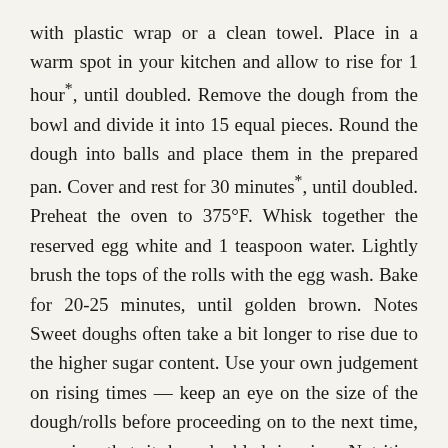with plastic wrap or a clean towel. Place in a warm spot in your kitchen and allow to rise for 1 hour*, until doubled. Remove the dough from the bowl and divide it into 15 equal pieces. Round the dough into balls and place them in the prepared pan. Cover and rest for 30 minutes*, until doubled. Preheat the oven to 375°F. Whisk together the reserved egg white and 1 teaspoon water. Lightly brush the tops of the rolls with the egg wash. Bake for 20-25 minutes, until golden brown. Notes Sweet doughs often take a bit longer to rise due to the higher sugar content. Use your own judgement on rising times — keep an eye on the size of the dough/rolls before proceeding on to the next time, ensuring that it has doubled in size. Nutrition Calories: 55kcal | Carbohydrates: 6g | Protein: 1g | Fat: 3g | Saturated Fat: 2g | Trans Fat: 1g | Cholesterol: 8mg | Sodium: 415mg | Potassium: